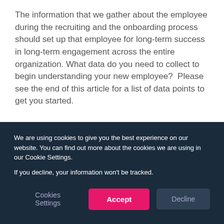The information that we gather about the employee during the recruiting and the onboarding process should set up that employee for long-term success in long-term engagement across the entire organization. What data do you need to collect to begin understanding your new employee?  Please see the end of this article for a list of data points to get you started.
Capturing Data
How many of these types of data points are you...
We are using cookies to give you the best experience on our website. You can find out more about the cookies we are using in our Cookie Settings.

If you decline, your information won't be tracked.